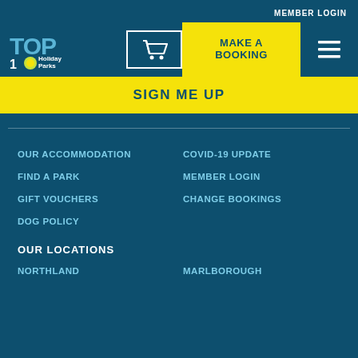MEMBER LOGIN
[Figure (logo): TOP 10 Holiday Parks Group logo — blue text with yellow/green circle accent]
[Figure (infographic): Shopping cart icon in white outline box]
MAKE A BOOKING
SIGN ME UP
OUR ACCOMMODATION
COVID-19 UPDATE
FIND A PARK
MEMBER LOGIN
GIFT VOUCHERS
CHANGE BOOKINGS
DOG POLICY
OUR LOCATIONS
NORTHLAND
MARLBOROUGH